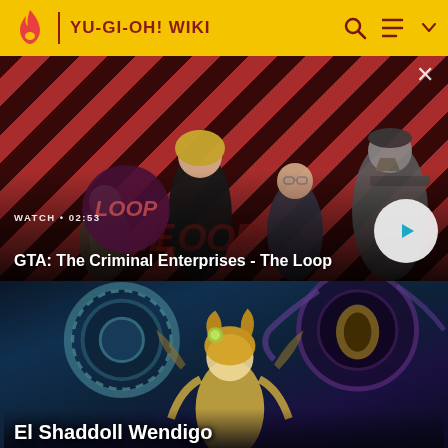YU-GI-OH! WIKI
[Figure (screenshot): Video thumbnail for 'GTA: The Criminal Enterprises - The Loop' showing four game characters on a red diagonal striped background, with a play button and watch duration 02:53]
WATCH • 02:53
GTA: The Criminal Enterprises - The Loop
[Figure (illustration): Yu-Gi-Oh! card art featuring a fantasy anime character (El Shaddoll Wendigo) with teal and purple tones, mechanical and mystical elements]
El Shaddoll Wendigo